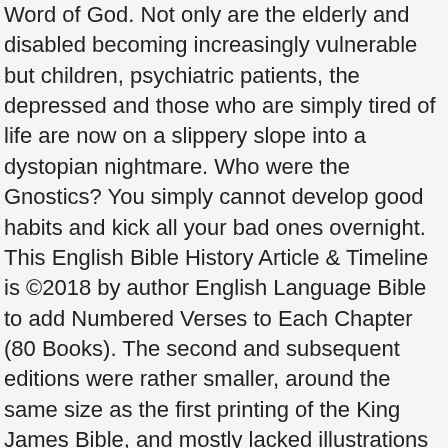Word of God. Not only are the elderly and disabled becoming increasingly vulnerable but children, psychiatric patients, the depressed and those who are simply tired of life are now on a slippery slope into a dystopian nightmare. Who were the Gnostics? You simply cannot develop good habits and kick all your bad ones overnight. This English Bible History Article & Timeline is ©2018 by author English Language Bible to add Numbered Verses to Each Chapter (80 Books). The second and subsequent editions were rather smaller, around the same size as the first printing of the King James Bible, and mostly lacked illustrations other than frontispieces and maps. HOW TO STUDY YOUR BIBLE: Rightly Handling the Word of God. Manuscripts which make up The 39 Books of the Old Testament. GOD WILL GET YOU THROUGH THIS: Hope and Help for Your Difficult Times. The last …, THE BOOK OF JAMES (CPH New Testament Commentary 17). This commentary volume is part of a series by Christian Publishing House (CPH) that covers all of the sixty-six books of the Bible. We will answer the question of whether the Quran is a literary miracle, as well as is there evidence that the